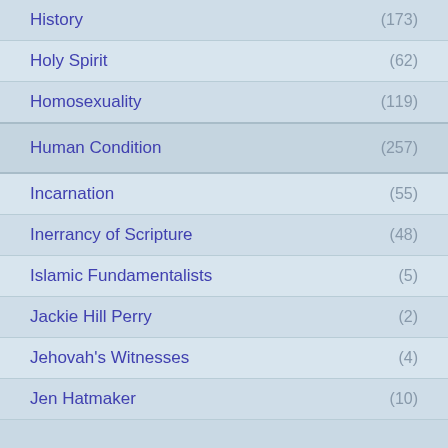History (173)
Holy Spirit (62)
Homosexuality (119)
Human Condition (257)
Incarnation (55)
Inerrancy of Scripture (48)
Islamic Fundamentalists (5)
Jackie Hill Perry (2)
Jehovah's Witnesses (4)
Jen Hatmaker (10)